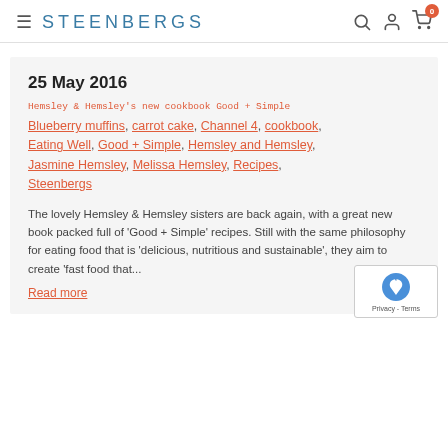STEENBERGS
25 May 2016
Hemsley & Hemsley's new cookbook Good + Simple
Blueberry muffins, carrot cake, Channel 4, cookbook, Eating Well, Good + Simple, Hemsley and Hemsley, Jasmine Hemsley, Melissa Hemsley, Recipes, Steenbergs
The lovely Hemsley & Hemsley sisters are back again, with a great new book packed full of 'Good + Simple' recipes. Still with the same philosophy for eating food that is 'delicious, nutritious and sustainable', they aim to create 'fast food that...
Read more